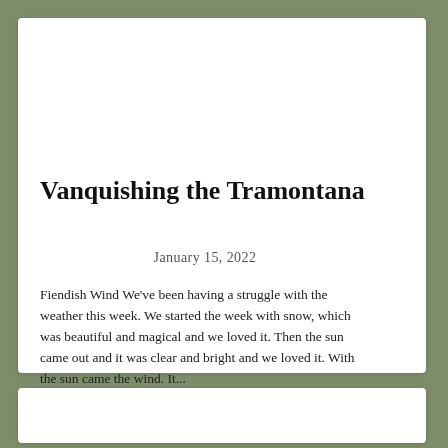Vanquishing the Tramontana
January 15, 2022
Fiendish Wind We've been having a struggle with the weather this week.  We started the week with snow, which was beautiful and magical and we loved it.  Then the sun came out and it was clear and bright and we loved it.  With the sun came the wind.  It...